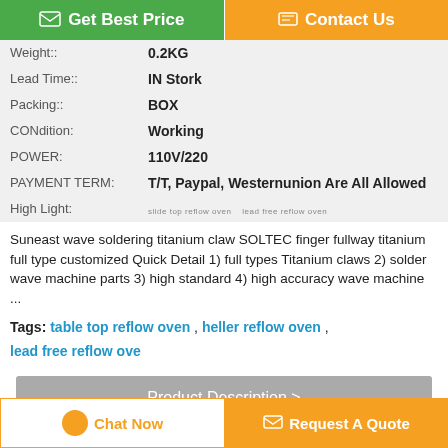[Figure (screenshot): Two buttons: 'Get Best Price' (green) and 'Contact Us' (orange)]
| Field | Value |
| --- | --- |
| Weight:: | 0.2KG |
| Lead Time:: | IN Stork |
| Packing:: | BOX |
| CONdition: | Working |
| POWER: | 110V/220 |
| PAYMENT TERM: | T/T, Paypal, Westernunion Are All Allowed |
| High Light: | [highlight tags] |
Suneast wave soldering titanium claw SOLTEC finger fullway titanium full type customized Quick Detail 1) full types Titanium claws 2) solder wave machine parts 3) high standard 4) high accuracy wave machine ...
Tags: table top reflow oven , heller reflow oven , lead free reflow ove
[Figure (screenshot): Product Description > button (gray)]
[Figure (screenshot): Orange bar]
[Figure (screenshot): Bottom buttons: Chat Now and Request A Quote]